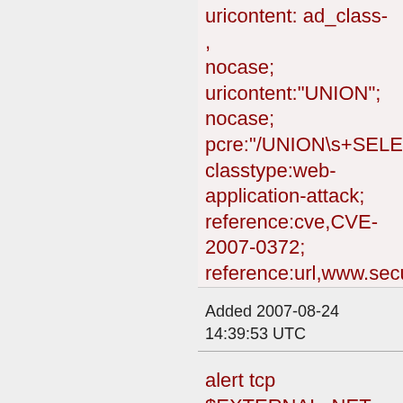uricontent: ad_class- , nocase; uricontent:"UNION"; nocase; pcre:"/UNION\s+SELECT classtype:web-application-attack; reference:cve,CVE-2007-0372; reference:url,www.securit sid:2005463; rev:2;)
Added 2007-08-24 14:39:53 UTC
alert tcp $EXTERNAL_NET any -> $HTTP_SERVERS $HTTP_PORTS